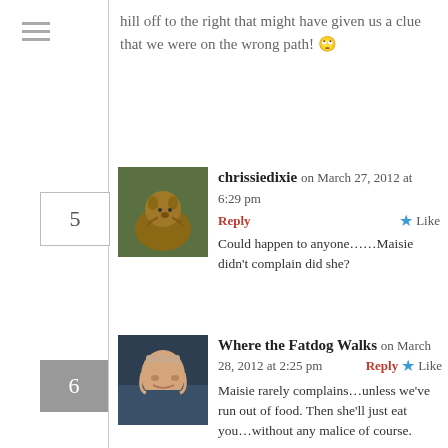hill off to the right that might have given us a clue that we were on the wrong path! 🙄
chrissiedixie on March 27, 2012 at 6:29 pm  Reply  ★ Like
Could happen to anyone……Maisie didn't complain did she?
Where the Fatdog Walks on March 28, 2012 at 2:25 pm  Reply  ★ Like
Maisie rarely complains…unless we've run out of food. Then she'll just eat you…without any malice of course.